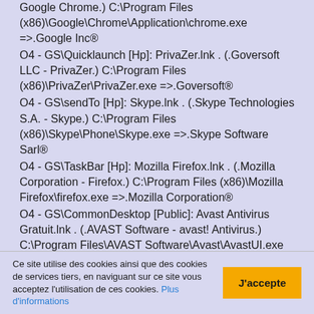Google Chrome.) C:\Program Files (x86)\Google\Chrome\Application\chrome.exe =>.Google Inc® O4 - GS\Quicklaunch [Hp]: PrivaZer.lnk . (.Goversoft LLC - PrivaZer.) C:\Program Files (x86)\PrivaZer\PrivaZer.exe =>.Goversoft® O4 - GS\sendTo [Hp]: Skype.lnk . (.Skype Technologies S.A. - Skype.) C:\Program Files (x86)\Skype\Phone\Skype.exe =>.Skype Software Sarl® O4 - GS\TaskBar [Hp]: Mozilla Firefox.lnk . (.Mozilla Corporation - Firefox.) C:\Program Files (x86)\Mozilla Firefox\firefox.exe =>.Mozilla Corporation® O4 - GS\CommonDesktop [Public]: Avast Antivirus Gratuit.lnk . (.AVAST Software - avast! Antivirus.) C:\Program Files\AVAST Software\Avast\AvastUI.exe =>.AVAST Software a.s.® O4 - GS\CommonDesktop [Public]: Google Chrome.lnk . (.Google Inc. - Google Chrome.) C:\Program Files (x86)\Google\Chrome\Application\chrome.exe =>.Google Inc® O4 - GS\CommonDesktop [Public]: Mozilla Firefox.lnk . (.Mozilla Corporation - Firefox.) C:\Program Files (x86)\Mozilla Firefox\firefox.exe =>.Mozilla Corporation®
Ce site utilise des cookies ainsi que des cookies de services tiers, en naviguant sur ce site vous acceptez l'utilisation de ces cookies. Plus d'informations